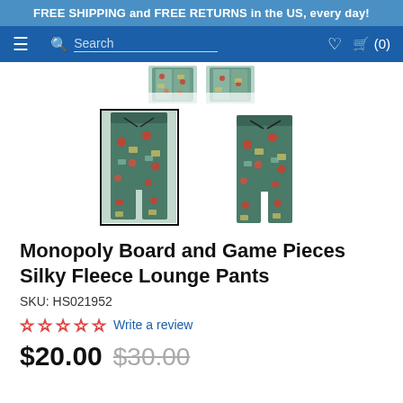FREE SHIPPING and FREE RETURNS in the US, every day!
[Figure (screenshot): Navigation bar with hamburger menu, search bar, heart icon, and cart (0)]
[Figure (photo): Product thumbnail images of Monopoly Board and Game Pieces Silky Fleece Lounge Pants - partially visible top row and two main thumbnails (one selected with black border, one unselected)]
Monopoly Board and Game Pieces Silky Fleece Lounge Pants
SKU: HS021952
☆☆☆☆☆ Write a review
$20.00  $30.00